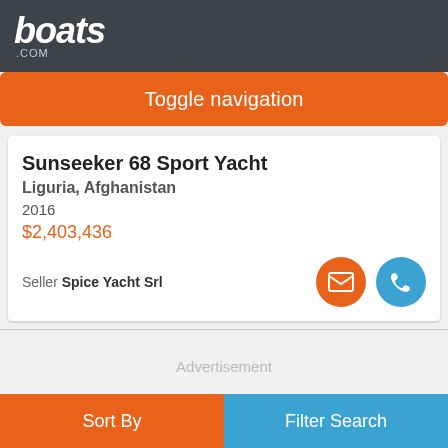boats.com
Toggle navigation
Sunseeker 68 Sport Yacht
Liguria, Afghanistan
2016
$2,403,436
Seller Spice Yacht Srl
Advertisement
Sort By | Filter Search